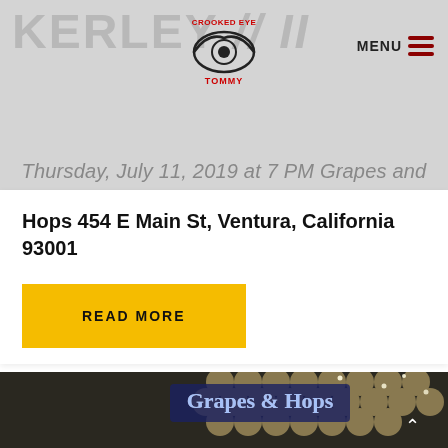KERLEY //11
[Figure (logo): Crooked Eye Tommy logo — a stylized eye with text 'CROOKED EYE' above and 'TOMMY' below, in red and black ink style]
Thursday, July 11, 2019 at 7 PM Grapes and Hops 454 E Main St, Ventura, California 93001
READ MORE
[Figure (photo): Nighttime exterior photo of Grapes and Hops bar/restaurant with illuminated sign showing 'Grapes & Hops' in blue neon, decorative circular tile facade, string lights in trees, and covered entrance with pendant lights]